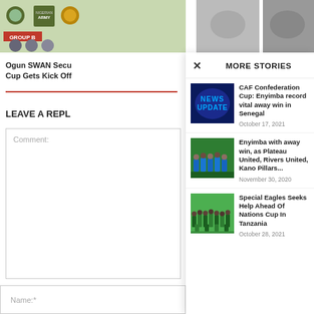[Figure (screenshot): Top image strip showing sports/army related thumbnails with group B label]
Ogun SWAN Secu Cup Gets Kick Off
LEAVE A REPLY
[Figure (screenshot): More Stories modal panel with close X button]
CAF Confederation Cup: Enyimba record vital away win in Senegal - October 17, 2021
Enyimba with away win, as Plateau United, Rivers United, Kano Pillars... - November 30, 2020
Special Eagles Seeks Help Ahead Of Nations Cup In Tanzania - October 28, 2021
Name:*